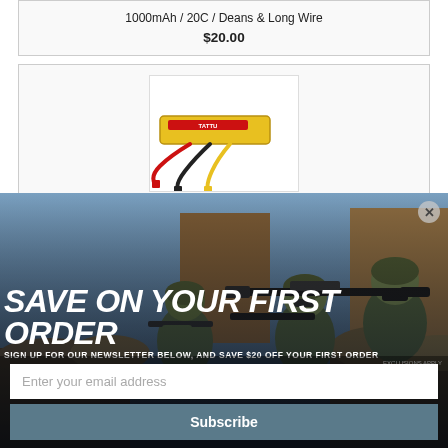1000mAh / 20C / Deans & Long Wire
$20.00
[Figure (photo): LiPo battery with Deans connector and short wire leads]
1000mAh / 20C / Deans & Short Wire
$20.00
[Figure (photo): Popup advertisement showing soldiers in tactical gear with rifles. Text: SAVE ON YOUR FIRST ORDER. SIGN UP FOR OUR NEWSLETTER BELOW, AND SAVE $20 OFF YOUR FIRST ORDER. EXCLUSIONS APPLY. Email subscription form with Subscribe button.]